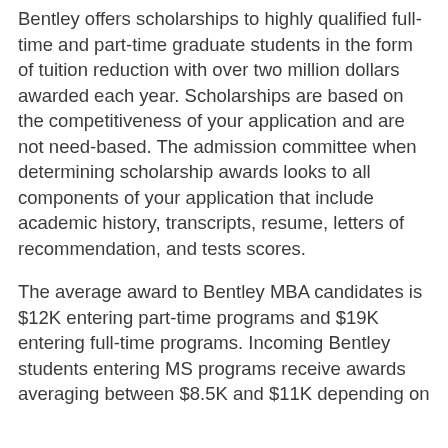Bentley offers scholarships to highly qualified full-time and part-time graduate students in the form of tuition reduction with over two million dollars awarded each year. Scholarships are based on the competitiveness of your application and are not need-based. The admission committee when determining scholarship awards looks to all components of your application that include academic history, transcripts, resume, letters of recommendation, and tests scores.
The average award to Bentley MBA candidates is $12K entering part-time programs and $19K entering full-time programs. Incoming Bentley students entering MS programs receive awards averaging between $8.5K and $11K depending on